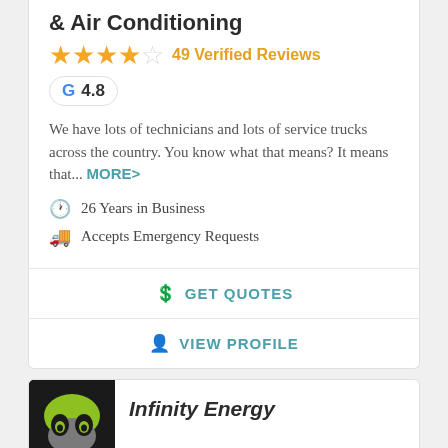& Air Conditioning
49 Verified Reviews
G 4.8
We have lots of technicians and lots of service trucks across the country. You know what that means? It means that... MORE>
26 Years in Business
Accepts Emergency Requests
GET QUOTES
VIEW PROFILE
Infinity Energy